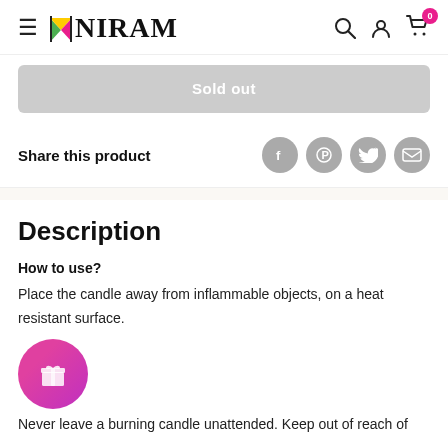NIRAM
Sold out
Share this product
Description
How to use?
Place the candle away from inflammable objects, on a heat resistant surface.
[Figure (illustration): Pink gift icon circle button]
Never leave a burning candle unattended. Keep out of reach of